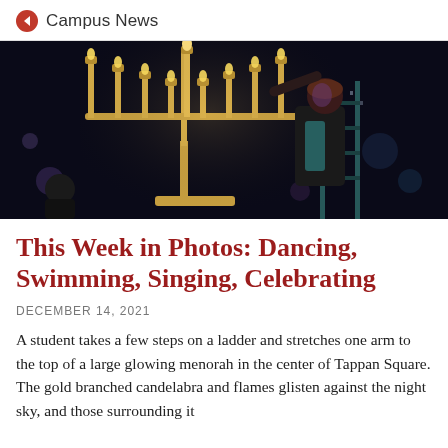Campus News
[Figure (photo): A student standing on a ladder reaching up to touch a large golden menorah at night in Tappan Square. The menorah's gold branches glow against the dark night sky with city lights in the background.]
This Week in Photos: Dancing, Swimming, Singing, Celebrating
DECEMBER 14, 2021
A student takes a few steps on a ladder and stretches one arm to the top of a large glowing menorah in the center of Tappan Square. The gold branched candelabra and flames glisten against the night sky, and those surrounding it